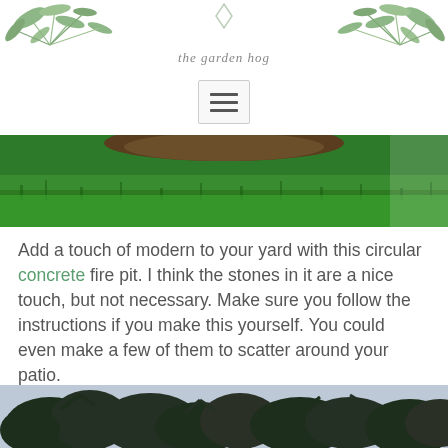[Figure (logo): The Garden Hog blog logo with watercolor botanical leaves and script text]
[Figure (photo): Navigation hamburger menu button (three horizontal lines)]
[Figure (photo): Top portion of a circular concrete fire pit surrounded by green grass]
Add a touch of modern to your yard with this circular concrete fire pit. I think the stones in it are a nice touch, but not necessary. Make sure you follow the instructions if you make this yourself. You could even make a few of them to scatter around your patio.
[Figure (photo): Silhouette of trees against a light blue-grey sky]